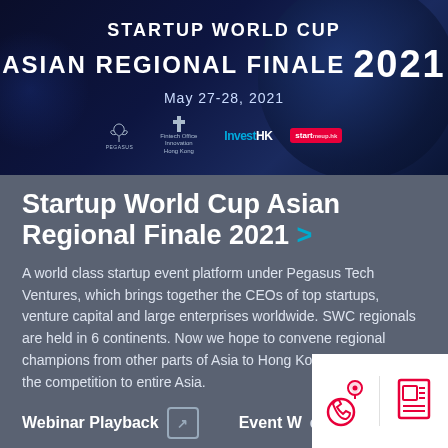[Figure (illustration): Banner image for Startup World Cup Asian Regional Finale 2021, dark blue background with globe graphic, showing logos of Pegasus, FinTec, InvestHK, and StartmeupHK. Text reads STARTUP WORLD CUP ASIAN REGIONAL FINALE 2021, May 27-28, 2021]
Startup World Cup Asian Regional Finale 2021 >
A world class startup event platform under Pegasus Tech Ventures, which brings together the CEOs of top startups, venture capital and large enterprises worldwide. SWC regionals are held in 6 continents. Now we hope to convene regional champions from other parts of Asia to Hong Kong and expand the competition to entire Asia.
Webinar Playback ↗    Event Website ↗